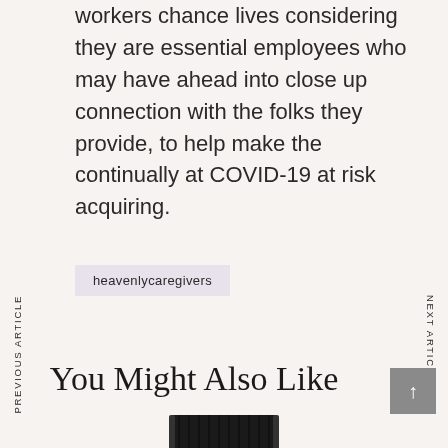workers chance lives considering they are essential employees who may have ahead into close up connection with the folks they provide, to help make the continually at COVID-19 at risk acquiring.
heavenlycaregivers
PREVIOUS ARTICLE
NEXT ARTICLE
You Might Also Like
[Figure (photo): Bottom portion of a dark black bottle with ridged cap, shown from above on a light beige background]